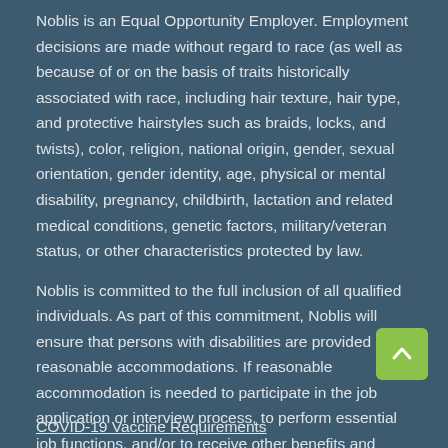Noblis is an Equal Opportunity Employer. Employment decisions are made without regard to race (as well as because of or on the basis of traits historically associated with race, including hair texture, hair type, and protective hairstyles such as braids, locks, and twists), color, religion, national origin, gender, sexual orientation, gender identity, age, physical or mental disability, pregnancy, childbirth, lactation and related medical conditions, genetic factors, military/veteran status, or other characteristics protected by law.
Noblis is committed to the full inclusion of all qualified individuals. As part of this commitment, Noblis will ensure that persons with disabilities are provided reasonable accommodations. If reasonable accommodation is needed to participate in the job application or interview process, to perform essential job functions, and/or to receive other benefits and privileges of employment, please contact employee-relations@noblis.org.
EEO is the Law | E-Verify | Right to Work
COVID-19 Vaccine Requirements